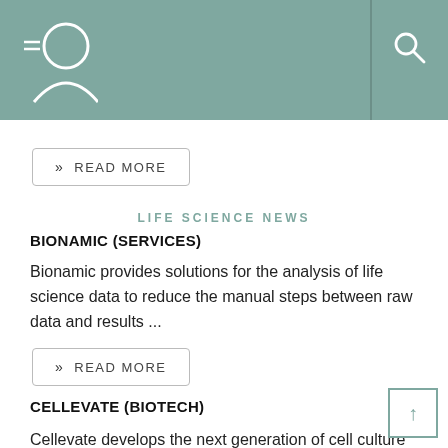READ MORE
LIFE SCIENCE NEWS
BIONAMIC (SERVICES)
Bionamic provides solutions for the analysis of life science data to reduce the manual steps between raw data and results ...
READ MORE
CELLEVATE (BIOTECH)
Cellevate develops the next generation of cell culture systems. We create highly porous and consistent networks of nano... through a patented